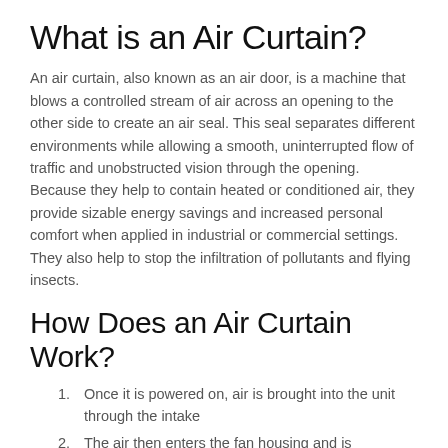What is an Air Curtain?
An air curtain, also known as an air door, is a machine that blows a controlled stream of air across an opening to the other side to create an air seal. This seal separates different environments while allowing a smooth, uninterrupted flow of traffic and unobstructed vision through the opening. Because they help to contain heated or conditioned air, they provide sizable energy savings and increased personal comfort when applied in industrial or commercial settings. They also help to stop the infiltration of pollutants and flying insects.
How Does an Air Curtain Work?
Once it is powered on, air is brought into the unit through the intake
The air then enters the fan housing and is accelerated by the fan.
This fast-moving air goes into a plenum, which allows for an even distribution of air along the full length of the discharge nozzle.